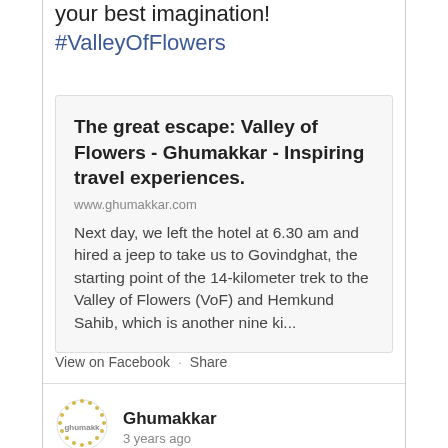your best imagination! #ValleyOfFlowers
[Figure (screenshot): Link preview card for 'The great escape: Valley of Flowers - Ghumakkar - Inspiring travel experiences.' from www.ghumakkar.com with a text excerpt about leaving the hotel at 6.30 am and hiring a jeep to Govindghat.]
View on Facebook · Share
[Figure (logo): Ghumakkar circular dotted logo]
Ghumakkar
3 years ago